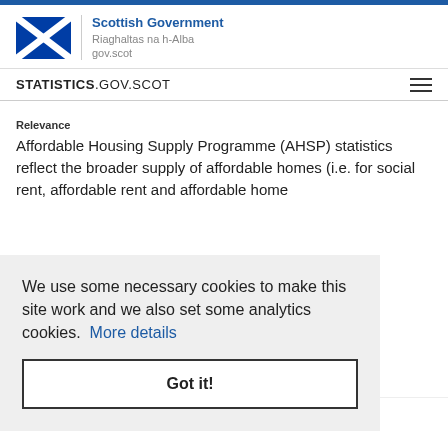Scottish Government Riaghaltas na h-Alba gov.scot
STATISTICS.GOV.SCOT
Relevance
Affordable Housing Supply Programme (AHSP) statistics reflect the broader supply of affordable homes (i.e. for social rent, affordable rent and affordable home
We use some necessary cookies to make this site work and we also set some analytics cookies. More details
Got it!
Timeliness and Punctuality